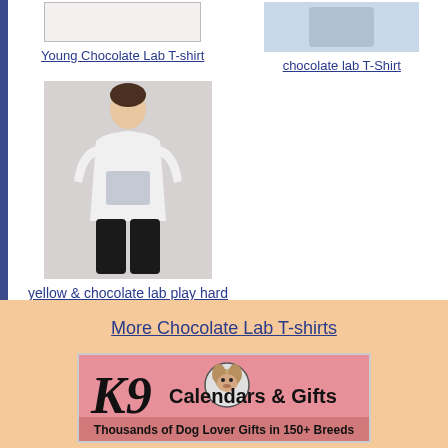[Figure (photo): Young Chocolate Lab T-shirt product image (partial, top portion)]
Young Chocolate Lab T-shirt
[Figure (photo): chocolate lab T-Shirt product image showing model wearing shirt]
chocolate lab T-Shirt
[Figure (photo): Woman wearing yellow & chocolate lab play hard T-Shirt]
yellow & chocolate lab play hard T-Shirt
More Chocolate Lab T-shirts
[Figure (logo): K9 Calendars & Gifts banner - Thousands of Dog Lover Gifts in 150+ Breeds]